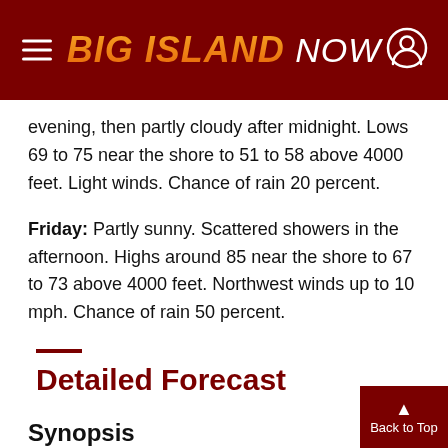Big Island Now
evening, then partly cloudy after midnight. Lows 69 to 75 near the shore to 51 to 58 above 4000 feet. Light winds. Chance of rain 20 percent.
Friday: Partly sunny. Scattered showers in the afternoon. Highs around 85 near the shore to 67 to 73 above 4000 feet. Northwest winds up to 10 mph. Chance of rain 50 percent.
Detailed Forecast
Synopsis
Lingering clouds and showers will persist acros